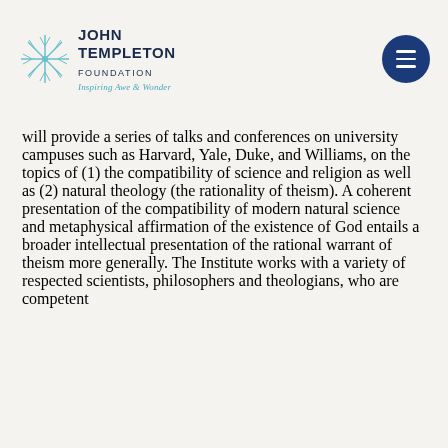John Templeton Foundation — Inspiring Awe & Wonder
will provide a series of talks and conferences on university campuses such as Harvard, Yale, Duke, and Williams, on the topics of (1) the compatibility of science and religion as well as (2) natural theology (the rationality of theism). A coherent presentation of the compatibility of modern natural science and metaphysical affirmation of the existence of God entails a broader intellectual presentation of the rational warrant of theism more generally. The Institute works with a variety of respected scientists, philosophers and theologians, who are competent